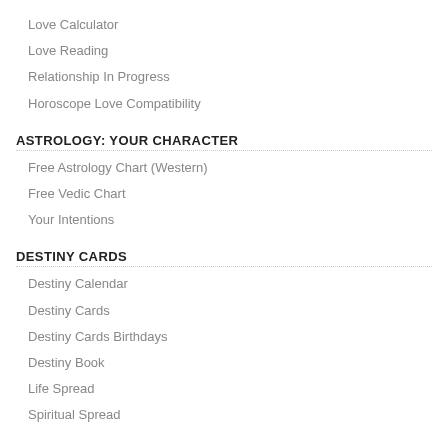Love Calculator
Love Reading
Relationship In Progress
Horoscope Love Compatibility
ASTROLOGY: YOUR CHARACTER
Free Astrology Chart (Western)
Free Vedic Chart
Your Intentions
DESTINY CARDS
Destiny Calendar
Destiny Cards
Destiny Cards Birthdays
Destiny Book
Life Spread
Spiritual Spread